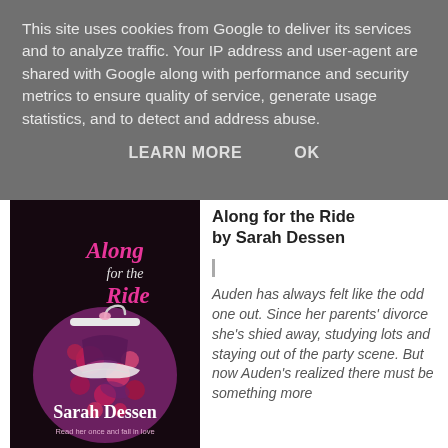This site uses cookies from Google to deliver its services and to analyze traffic. Your IP address and user-agent are shared with Google along with performance and security metrics to ensure quality of service, generate usage statistics, and to detect and address abuse.
LEARN MORE    OK
[Figure (illustration): Book cover of 'Along for the Ride' by Sarah Dessen, showing a decorative dress made of floral patterns in pink, purple, and red on a dark background with the title in pink and author name in white.]
Along for the Ride by Sarah Dessen
Auden has always felt like the odd one out. Since her parents' divorce she's shied away, studying lots and staying out of the party scene. But now Auden's realized there must be something more